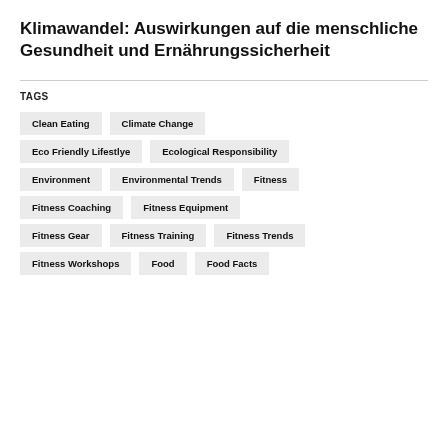Klimawandel: Auswirkungen auf die menschliche Gesundheit und Ernährungssicherheit
TAGS
Clean Eating
Climate Change
Eco Friendly Lifestlye
Ecological Responsibility
Environment
Environmental Trends
Fitness
Fitness Coaching
Fitness Equipment
Fitness Gear
Fitness Training
Fitness Trends
Fitness Workshops
Food
Food Facts